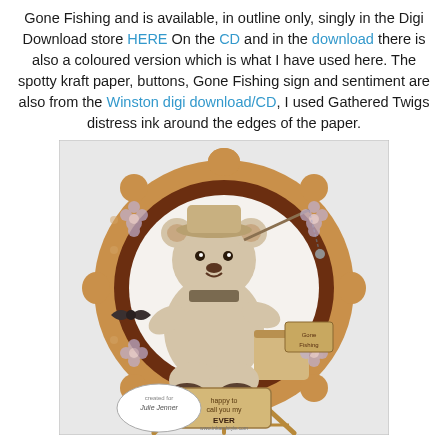Gone Fishing and is available, in outline only, singly in the Digi Download store HERE On the CD and in the download there is also a coloured version which is what I have used here. The spotty kraft paper, buttons, Gone Fishing sign and sentiment are also from the Winston digi download/CD, I used Gathered Twigs distress ink around the edges of the paper.
[Figure (photo): A handmade craft card featuring a teddy bear with a fishing rod and bucket, set on a scalloped-edge kraft paper background with brown border and polka dot pattern, displayed on a small wooden easel. A circular logo reads 'created for' with 'Julie Jenner' below.]